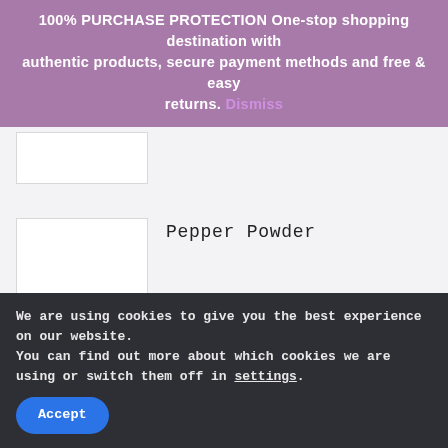100% PURCHASE PROTECTION One-stop shopping destination with authentic products, secure payment methods and free & easy returns. Dismiss
[Figure (other): White rectangular product image placeholder box (partially visible, top area)]
Pepper Powder
[Figure (other): White rectangular product image placeholder box for Pepper Powder]
We are using cookies to give you the best experience on our website.
You can find out more about which cookies we are using or switch them off in settings.
Accept